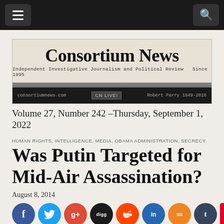Consortium News — Independent Investigative Journalism and Political Review — Since 1995
Volume 27, Number 242 —Thursday, September 1, 2022
HUMAN RIGHTS, INTELLIGENCE, MEDIA, OBAMA ADMINISTRATION, SECRECY
Was Putin Targeted for Mid-Air Assassination?
August 8, 2014
[Figure (other): Social media sharing icons: Facebook, Twitter, Google+, Digg, Reddit, LinkedIn, StumbleUpon, Tumblr, Pinterest Save, Email]
Exclusive: Official Washington's conventional wisdom on the Malaysia Airlines shoot-down blames Russian President Putin, but some U.S. intelligence analysts think Putin, whose plane was flying nearby, may